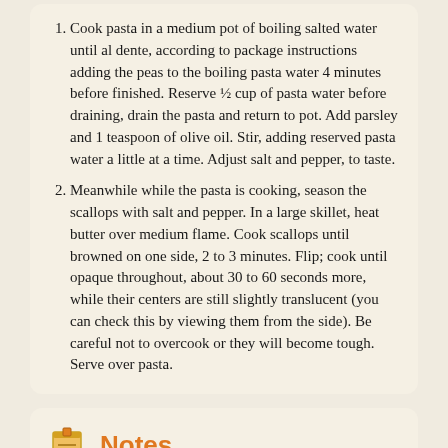Cook pasta in a medium pot of boiling salted water until al dente, according to package instructions adding the peas to the boiling pasta water 4 minutes before finished. Reserve ½ cup of pasta water before draining, drain the pasta and return to pot. Add parsley and 1 teaspoon of olive oil. Stir, adding reserved pasta water a little at a time. Adjust salt and pepper, to taste.
Meanwhile while the pasta is cooking, season the scallops with salt and pepper. In a large skillet, heat butter over medium flame. Cook scallops until browned on one side, 2 to 3 minutes. Flip; cook until opaque throughout, about 30 to 60 seconds more, while their centers are still slightly translucent (you can check this by viewing them from the side). Be careful not to overcook or they will become tough. Serve over pasta.
Notes
Note: Try a handful of fresh spinach or sautéed kale or mushrooms or asparagus To cook scallops: Really hot pan, butter and olive oil. Sear